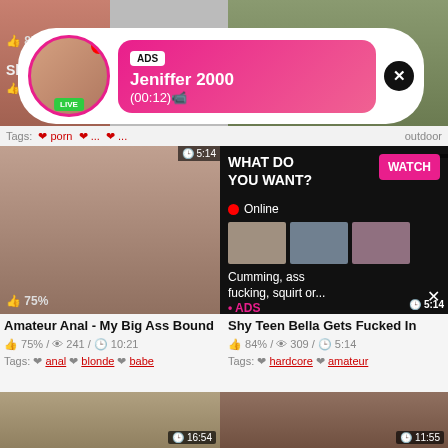[Figure (screenshot): Adult video website screenshot with ads and video thumbnails]
87%
Skinn
87% /
ADS Jeniffer 2000 (00:12)
Tags: porn ... outdoor
WHAT DO YOU WANT? WATCH Online Cumming, ass fucking, squirt or... • ADS
75%
5:14
Amateur Anal - My Big Ass Bound
75% / 241 / 10:21
Tags: anal blonde babe
Shy Teen Bella Gets Fucked In
84% / 309 / 5:14
Tags: hardcore amateur
16:54
11:55